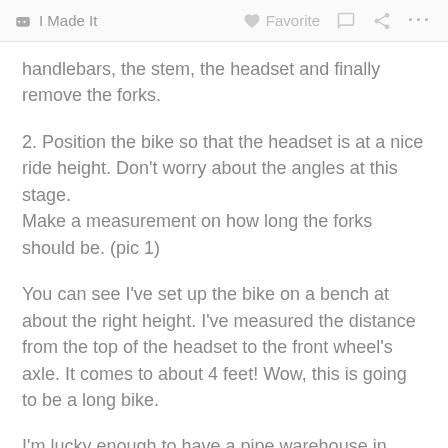I Made It   Favorite   ...
handlebars, the stem, the headset and finally remove the forks.
2. Position the bike so that the headset is at a nice ride height. Don't worry about the angles at this stage.
Make a measurement on how long the forks should be. (pic 1)
You can see I've set up the bike on a bench at about the right height. I've measured the distance from the top of the headset to the front wheel's axle. It comes to about 4 feet! Wow, this is going to be a long bike.
I'm lucky enough to have a pipe warehouse in town -